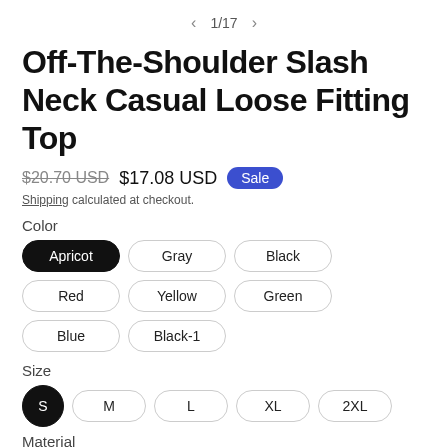1/17
Off-The-Shoulder Slash Neck Casual Loose Fitting Top
$20.70 USD  $17.08 USD  Sale
Shipping calculated at checkout.
Color
Apricot
Gray
Black
Red
Yellow
Green
Blue
Black-1
Size
S
M
L
XL
2XL
Material